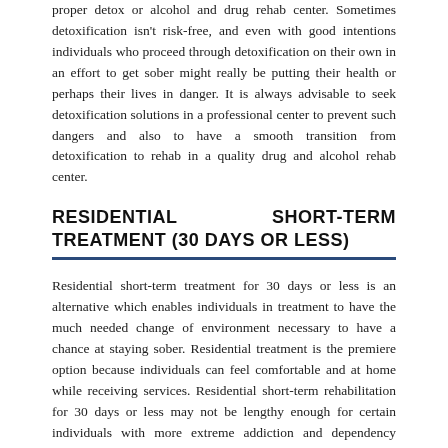proper detox or alcohol and drug rehab center. Sometimes detoxification isn't risk-free, and even with good intentions individuals who proceed through detoxification on their own in an effort to get sober might really be putting their health or perhaps their lives in danger. It is always advisable to seek detoxification solutions in a professional center to prevent such dangers and also to have a smooth transition from detoxification to rehab in a quality drug and alcohol rehab center.
RESIDENTIAL SHORT-TERM TREATMENT (30 DAYS OR LESS)
Residential short-term treatment for 30 days or less is an alternative which enables individuals in treatment to have the much needed change of environment necessary to have a chance at staying sober. Residential treatment is the premiere option because individuals can feel comfortable and at home while receiving services. Residential short-term rehabilitation for 30 days or less may not be lengthy enough for certain individuals with more extreme addiction and dependency issues, and this should always be evaluated at the end of the 30 days to determine if more intensive rehab is required.